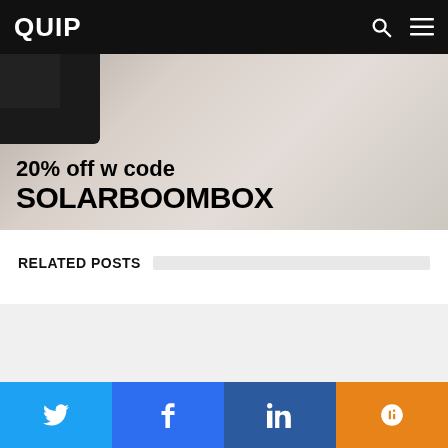QUIP
[Figure (photo): Advertisement banner: photo of a speaker/boombox on a marble surface. Text overlay reads '20% off w code SOLARBOOMBOX']
RELATED POSTS
[Figure (other): Grey placeholder area for related posts content]
Social share buttons: Twitter, Facebook, LinkedIn, Mix